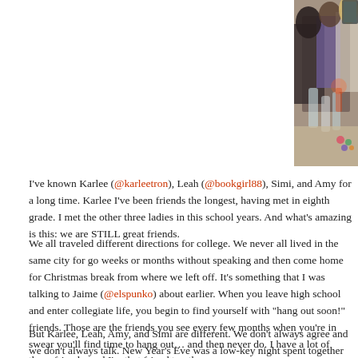[Figure (photo): Cropped photo showing women sitting together at a restaurant/bar, with drinks and candles on the table. Only partial view visible on right side of page.]
I've known Karlee (@karleetron), Leah (@bookgirl88), Simi, and Amy for a long time. Karlee I've been friends the longest, having met in eighth grade. I met the other three ladies in this photo during high school years. And what's amazing is this: we are STILL great friends.
We all traveled different directions for college. We never all lived in the same city for more than a year, go weeks or months without speaking and then come home for Christmas break fully picking up exactly where we left off. It's something that I was talking to Jaime (@elspunko) about earlier this past week. When you leave high school and enter collegiate life, you begin to find yourself with many "we should hang out soon!" friends. Those are the friends you see every few months when you're in the same city and swear you'll find time to hang out… and then never do. I have a lot of those friends, and I'm probably that friend to others.
But Karlee, Leah, Amy, and Simi are different. We don't always agree and we don't always talk. New Year's Eve was a low-key night spent together playing Loaded Questions (which was side-splittingly funny), eating snacks, watching the finales of 90s sitcoms, and then toasting at midnight to the beginning of a new year filled with friendship and fun.